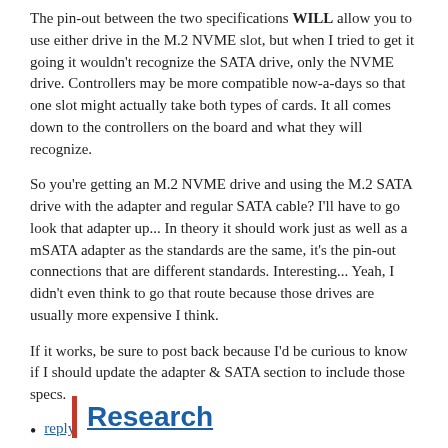The pin-out between the two specifications WILL allow you to use either drive in the M.2 NVME slot, but when I tried to get it going it wouldn't recognize the SATA drive, only the NVME drive. Controllers may be more compatible now-a-days so that one slot might actually take both types of cards. It all comes down to the controllers on the board and what they will recognize.
So you're getting an M.2 NVME drive and using the M.2 SATA drive with the adapter and regular SATA cable? I'll have to go look that adapter up... In theory it should work just as well as a mSATA adapter as the standards are the same, it's the pin-out connections that are different standards. Interesting... Yeah, I didn't even think to go that route because those drives are usually more expensive I think.
If it works, be sure to post back because I'd be curious to know if I should update the adapter & SATA section to include those specs.
reply
Research